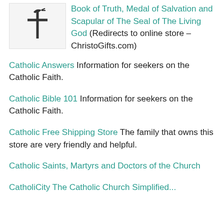Book of Truth, Medal of Salvation and Scapular of The Seal of The Living God (Redirects to online store – ChristoGifts.com)
Catholic Answers Information for seekers on the Catholic Faith.
Catholic Bible 101 Information for seekers on the Catholic Faith.
Catholic Free Shipping Store The family that owns this store are very friendly and helpful.
Catholic Saints, Martyrs and Doctors of the Church
CatholiCity The Catholic Church Simplified...